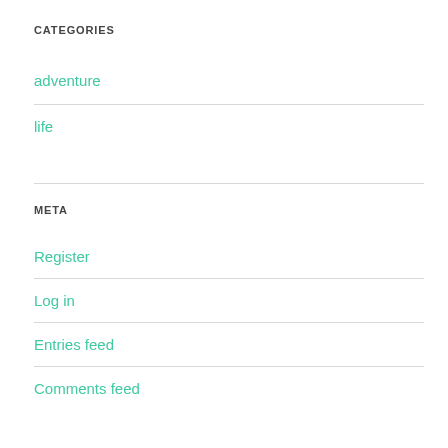CATEGORIES
adventure
life
META
Register
Log in
Entries feed
Comments feed